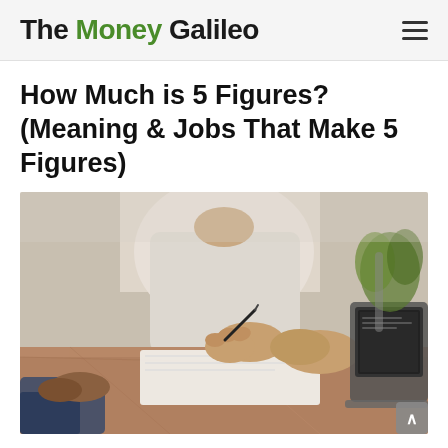The Money Galileo
How Much is 5 Figures? (Meaning & Jobs That Make 5 Figures)
[Figure (photo): Two people at a wooden desk in a meeting or signing context. One person in white shirt holds a pen over paper documents. Another person in blue shirt sits across. A laptop and a green potted plant are visible in the background.]